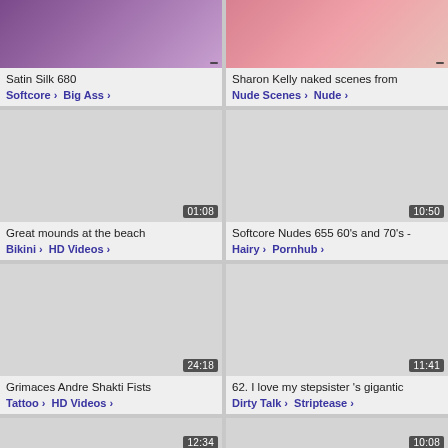[Figure (screenshot): Video thumbnail grid showing adult video website cards with titles and category tags]
Satin Silk 680
Softcore › Big Ass ›
Sharon Kelly naked scenes from
Nude Scenes › Nude ›
Great mounds at the beach
Bikini › HD Videos ›
Softcore Nudes 655 60's and 70's -
Hairy › Pornhub ›
Grimaces Andre Shakti Fists
Tattoo › HD Videos ›
62. I love my stepsister 's gigantic
Dirty Talk › Striptease ›